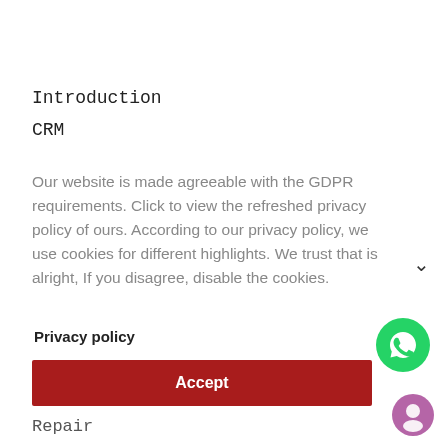Introduction
CRM
Our website is made agreeable with the GDPR requirements. Click to view the refreshed privacy policy of ours. According to our privacy policy, we use cookies for different highlights. We trust that is alright, If you disagree, disable the cookies.
Privacy policy
Accept
Repair